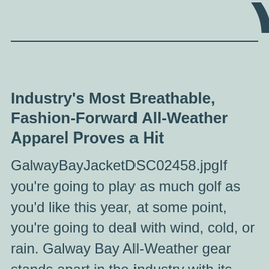Industry’s Most Breathable, Fashion-Forward All-Weather Apparel Proves a Hit
GalwayBayJacketDSC02458.jpgIf you’re going to play as much golf as you’d like this year, at some point, you’re going to deal with wind, cold, or rain. Galway Bay All-Weather gear stands apart in the industry with its lightweight, breathable fabric that is fully waterproof, blocks